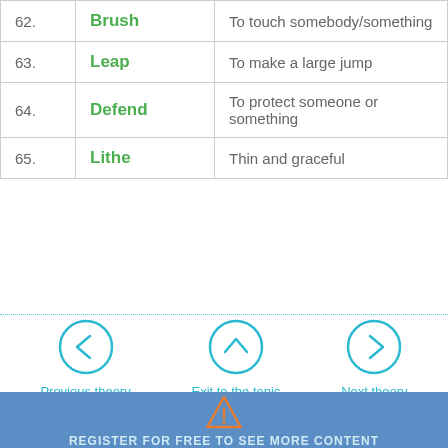| # | Word | Definition |
| --- | --- | --- |
| 62. | Brush | To touch somebody/something |
| 63. | Leap | To make a large jump |
| 64. | Defend | To protect someone or something |
| 65. | Lithe | Thin and graceful |
[Figure (infographic): Navigation buttons: Previous theory (left arrow), Exit to the topic (up arrow), Next theory (right arrow) — circular teal outlined icons with labels below]
Send feedback
REGISTER FOR FREE TO SEE MORE CONTENT